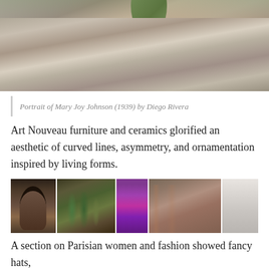[Figure (photo): Close-up of a painting showing fabric/clothing in muted gray-brown tones with green leaf visible at top, warm background tones]
Portrait of Mary Joy Johnson (1939) by Diego Rivera
Art Nouveau furniture and ceramics glorified an aesthetic of curved lines, asymmetry, and ornamentation inspired by living forms.
[Figure (photo): Collage of five photos showing Art Nouveau ceramics and furniture: decorative vases, glass vessels, purple iridescent vase, museum room with purple sofa and wooden furniture, and white decorative vase]
A section on Parisian women and fashion showed fancy hats,